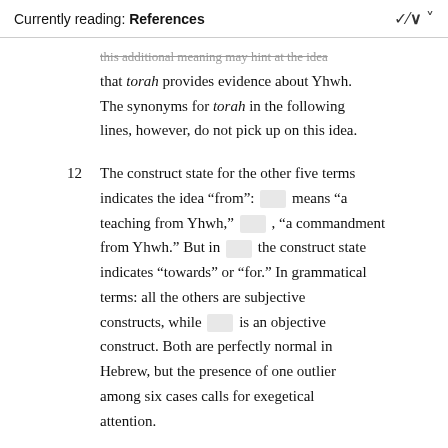Currently reading: References
this additional meaning may hint at the idea that torah provides evidence about Yhwh. The synonyms for torah in the following lines, however, do not pick up on this idea.
12  The construct state for the other five terms indicates the idea "from": [hebrew] means "a teaching from Yhwh," [hebrew], "a commandment from Yhwh." But in [hebrew] the construct state indicates "towards" or "for." In grammatical terms: all the others are subjective constructs, while [hebrew] is an objective construct. Both are perfectly normal in Hebrew, but the presence of one outlier among six cases calls for exegetical attention.